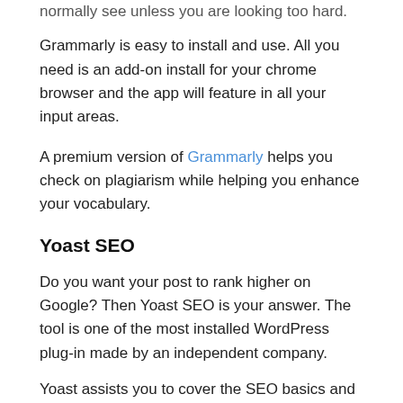normally see unless you are looking too hard.
Grammarly is easy to install and use. All you need is an add-on install for your chrome browser and the app will feature in all your input areas.
A premium version of Grammarly helps you check on plagiarism while helping you enhance your vocabulary.
Yoast SEO
Do you want your post to rank higher on Google? Then Yoast SEO is your answer. The tool is one of the most installed WordPress plug-in made by an independent company.
Yoast assists you to cover the SEO basics and make sure